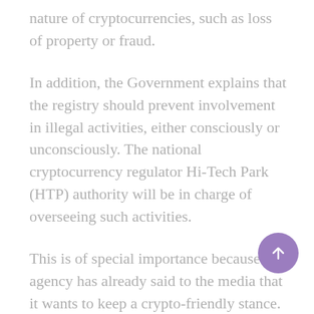nature of cryptocurrencies, such as loss of property or fraud.
In addition, the Government explains that the registry should prevent involvement in illegal activities, either consciously or unconsciously. The national cryptocurrency regulator Hi-Tech Park (HTP) authority will be in charge of overseeing such activities.
This is of special importance because that agency has already said to the media that it wants to keep a crypto-friendly stance.
According to a Bloomberg